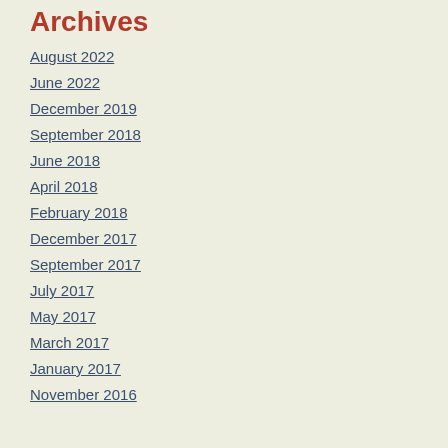Archives
August 2022
June 2022
December 2019
September 2018
June 2018
April 2018
February 2018
December 2017
September 2017
July 2017
May 2017
March 2017
January 2017
November 2016